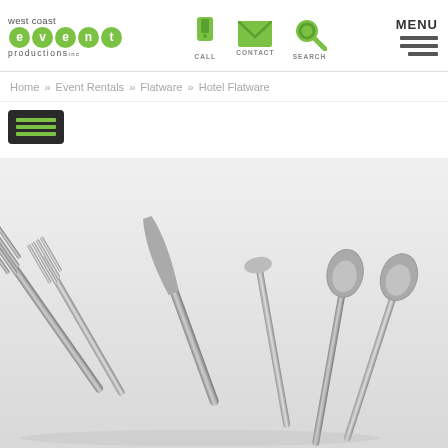west coast event productions - CALL CONTACT SEARCH MENU
Home » Event Rentals » Flatware » Hotel Flatware
[Figure (photo): Product photo of hotel flatware set including forks, knives, butter spreader, and spoons arranged on a white/light gray background]